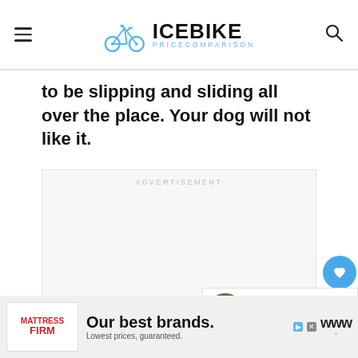ICEBIKE Pricecomparison
to be slipping and sliding all over the place. Your dog will not like it.
[Figure (other): Advertisement placeholder block with 'ADVERTISEMENT' label and three dots carousel indicator]
[Figure (other): What's Next card: Is Your Bike As Eco-... with circular thumbnail image]
[Figure (other): Bottom banner advertisement: Mattress Firm - Our best brands. Lowest prices, guaranteed.]